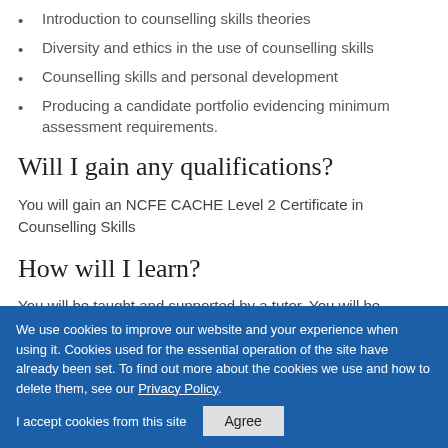Introduction to counselling skills theories
Diversity and ethics in the use of counselling skills
Counselling skills and personal development
Producing a candidate portfolio evidencing minimum assessment requirements.
Will I gain any qualifications?
You will gain an NCFE CACHE Level 2 Certificate in Counselling Skills
How will I learn?
You will be taught and supported by a tutor. You will be expected to attend your group once a week and participate in group and paired activities and discussions;
We use cookies to improve our website and your experience when using it. Cookies used for the essential operation of the site have already been set. To find out more about the cookies we use and how to delete them, see our Privacy Policy.
I accept cookies from this site  Agree